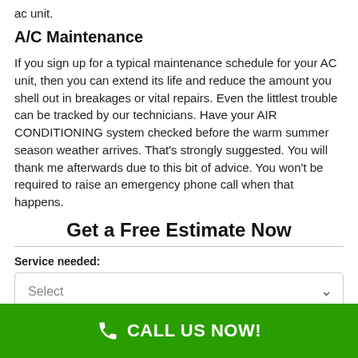not possible to attend to the demands of a worn-out ac unit.
A/C Maintenance
If you sign up for a typical maintenance schedule for your AC unit, then you can extend its life and reduce the amount you shell out in breakages or vital repairs. Even the littlest trouble can be tracked by our technicians. Have your AIR CONDITIONING system checked before the warm summer season weather arrives. That's strongly suggested. You will thank me afterwards due to this bit of advice. You won't be required to raise an emergency phone call when that happens.
Get a Free Estimate Now
Service needed:
Select
CALL US NOW!